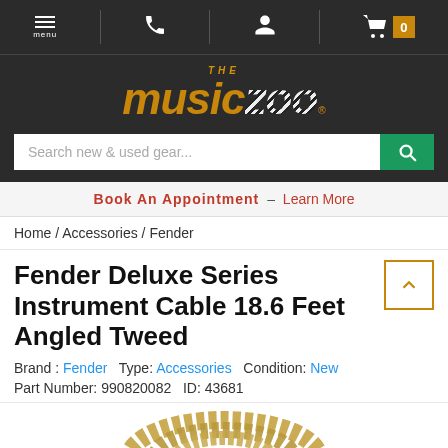menu | phone | user | cart 0
[Figure (logo): The Music Zoo logo — orange/gold stylized text with zebra-print zoo lettering on dark background]
Search new & used gear...
Book An Appointment - Learn More
Home / Accessories / Fender
Fender Deluxe Series Instrument Cable 18.6 Feet Angled Tweed
Brand: Fender  Type: Accessories  Condition: New
Part Number: 990820082  ID: 43681
[Figure (photo): Coiled gold/tweed colored instrument cable, partially visible at bottom of page]